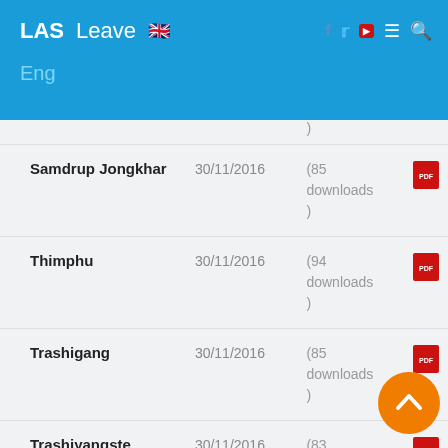LAS  Leave  [UK flag]  Eng
| Name | Date | Downloads | File |
| --- | --- | --- | --- |
|  |  | ) |  |
| Samdrup Jongkhar | 30/11/2016 | (85 downloads ) | PDF |
| Thimphu | 30/11/2016 | (94 downloads ) | PDF |
| Trashigang | 30/11/2016 | (85 downloads ) | PDF |
| Trashiyangste | 30/11/2016 | (83 downloads ) | PDF |